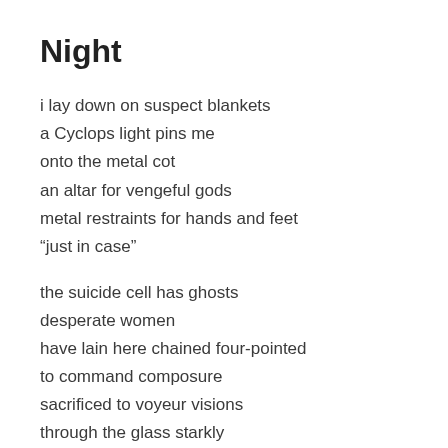Night
i lay down on suspect blankets
a Cyclops light pins me
onto the metal cot
an altar for vengeful gods
metal restraints for hands and feet
“just in case”
the suicide cell has ghosts
desperate women
have lain here chained four-pointed
to command composure
sacrificed to voyeur visions
through the glass starkly
through a burqa window